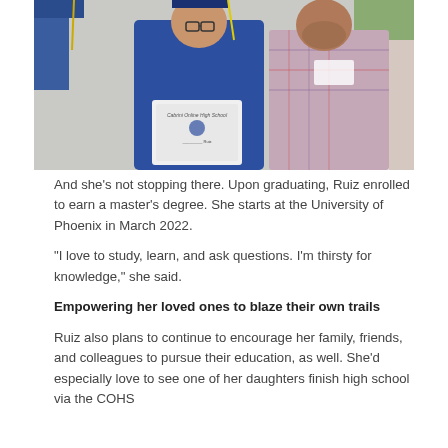[Figure (photo): A woman in a blue graduation cap and gown holding a diploma from Cabrini Online High School, standing next to an older man in a plaid shirt at a graduation ceremony.]
And she's not stopping there. Upon graduating, Ruiz enrolled to earn a master's degree. She starts at the University of Phoenix in March 2022.
“I love to study, learn, and ask questions. I’m thirsty for knowledge,” she said.
Empowering her loved ones to blaze their own trails
Ruiz also plans to continue to encourage her family, friends, and colleagues to pursue their education, as well. She’d especially love to see one of her daughters finish high school via the COHS